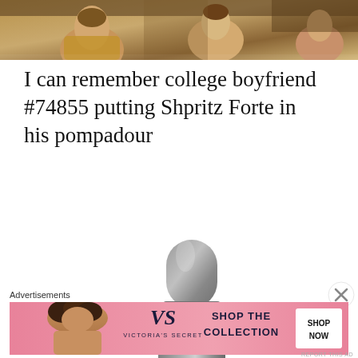[Figure (photo): Top portion of a painting or artwork showing figures, partially cropped]
I can remember college boyfriend #74855 putting Shpritz Forte in his pompadour
[Figure (photo): Sebastian Shpritz Forte hair product bottle - dark grey metallic pump/spray bottle with white base, SEBASTIAN label on the bottom]
Advertisements
[Figure (photo): Victoria's Secret advertisement banner - pink background with woman with curly hair on left, VS logo, 'SHOP THE COLLECTION' text, and 'SHOP NOW' button]